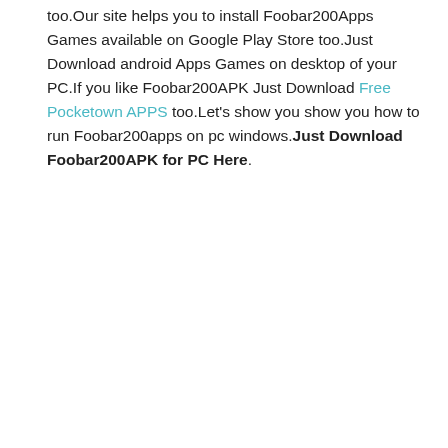too.Our site helps you to install Foobar200Apps Games available on Google Play Store too.Just Download android Apps Games on desktop of your PC.If you like Foobar200APK Just Download Free Pocketown APPS too.Let's show you show you how to run Foobar200apps on pc windows.Just Download Foobar200APK for PC Here.